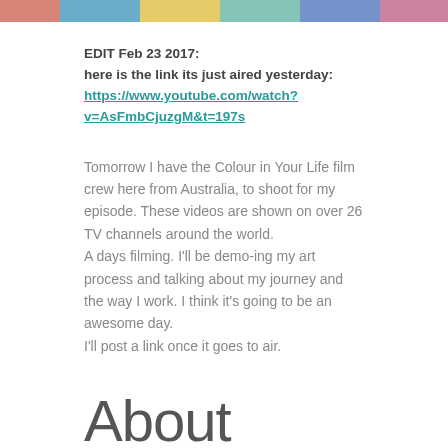[Figure (photo): Colorful image strip at top of page showing artwork/murals in multiple panels]
EDIT Feb 23 2017:
here is the link its just aired yesterday:
https://www.youtube.com/watch?v=AsFmbCjuzgM&t=197s
Tomorrow I have the Colour in Your Life film crew here from Australia, to shoot for my episode. These videos are shown on over 26 TV channels around the world.
A days filming. I'll be demo-ing my art process and talking about my journey and the way I work. I think it's going to be an awesome day.
I'll post a link once it goes to air.
About Colour In Your Life